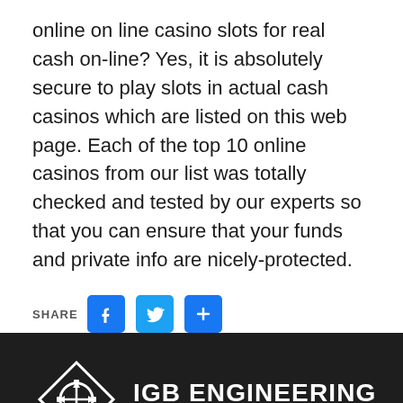online on line casino slots for real cash on-line? Yes, it is absolutely secure to play slots in actual cash casinos which are listed on this web page. Each of the top 10 online casinos from our list was totally checked and tested by our experts so that you can ensure that your funds and private info are nicely-protected.
[Figure (infographic): Share buttons row: SHARE label followed by Facebook (blue), Twitter (blue bird), and a blue plus button]
[Figure (logo): IGB Engineering Consultancy logo: white diamond/gear icon on dark background with text IGB ENGINEERING CONSULTANCY]